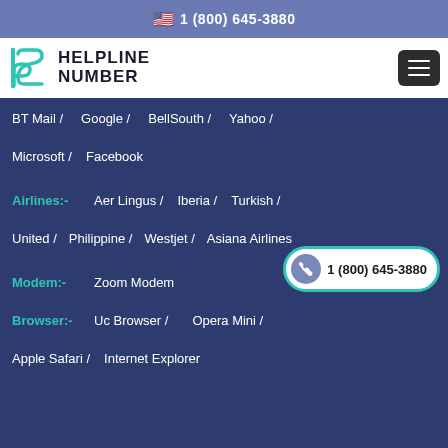🇺🇸 1 (800) 645-3880
[Figure (logo): Helpline Number logo with teal S/P icon and bold text HELPLINE NUMBER]
BT Mail / Google / BellSouth / Yahoo /
Microsoft / Facebook
Airlines:- Aer Lingus / Iberia / Turkish /
United / Philippine / Westjet / Asiana Airlines
Modem:- Zoom Modem
[Figure (other): Phone call button with teal border showing 1 (800) 645-3880]
Browser:- Uc Browser / Opera Mini /
Apple Safari / Internet Explorer